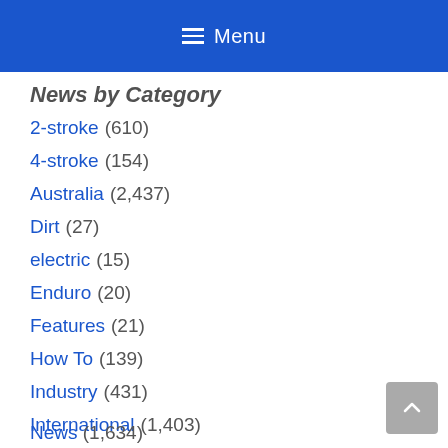Menu
News by Category
2-stroke (610)
4-stroke (154)
Australia (2,437)
Dirt (27)
electric (15)
Enduro (20)
Features (21)
How To (139)
Industry (431)
International (1,403)
News (1,634)